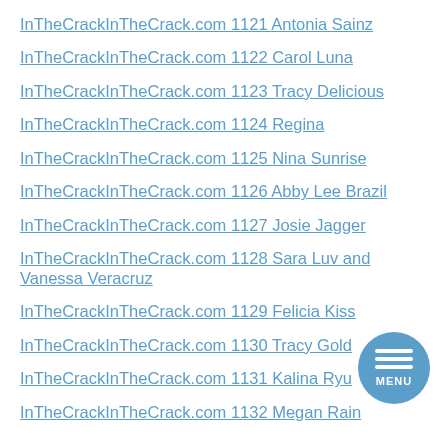InTheCrackInTheCrack.com 1121 Antonia Sainz
InTheCrackInTheCrack.com 1122 Carol Luna
InTheCrackInTheCrack.com 1123 Tracy Delicious
InTheCrackInTheCrack.com 1124 Regina
InTheCrackInTheCrack.com 1125 Nina Sunrise
InTheCrackInTheCrack.com 1126 Abby Lee Brazil
InTheCrackInTheCrack.com 1127 Josie Jagger
InTheCrackInTheCrack.com 1128 Sara Luv and Vanessa Veracruz
InTheCrackInTheCrack.com 1129 Felicia Kiss
InTheCrackInTheCrack.com 1130 Tracy Gold
InTheCrackInTheCrack.com 1131 Kalina Ryu
InTheCrackInTheCrack.com 1132 Megan Rain